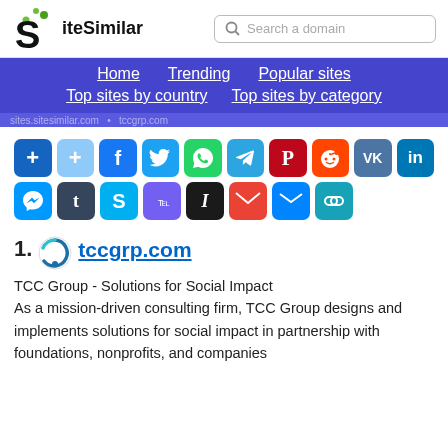SiteSimilar - Search a domain
[Figure (logo): SiteSimilar logo with stylized S icon and green dots]
[Figure (infographic): Social sharing icons row 1: add, add (light), Facebook, Twitter, WhatsApp, Telegram, Pinterest, Reddit, VK, LinkedIn]
[Figure (infographic): Social sharing icons row 2: Messenger, Tumblr, Skype, Viber, Instapaper, Gmail, Email, Copy link]
1. tccgrp.com
TCC Group - Solutions for Social Impact
As a mission-driven consulting firm, TCC Group designs and implements solutions for social impact in partnership with foundations, nonprofits, and companies